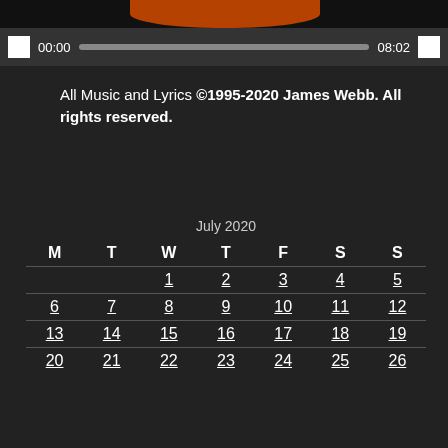[Figure (screenshot): Media player with album art thumbnail showing orange graphic, play controls, time display 00:00 to 08:02, and grey progress bar]
All Music and Lyrics ©1995-2020 James Webb. All rights reserved.
| M | T | W | T | F | S | S |
| --- | --- | --- | --- | --- | --- | --- |
|  |  | 1 | 2 | 3 | 4 | 5 |
| 6 | 7 | 8 | 9 | 10 | 11 | 12 |
| 13 | 14 | 15 | 16 | 17 | 18 | 19 |
| 20 | 21 | 22 | 23 | 24 | 25 | 26 |